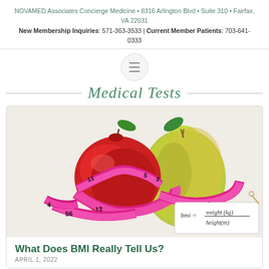NOVAMED Associates Concierge Medicine • 8316 Arlington Blvd • Suite 310 • Fairfax, VA 22031
New Membership Inquiries: 571-363-3533 | Current Member Patients: 703-641-0333
[Figure (other): Hamburger menu navigation icon — three horizontal lines in a light circle]
Medical Tests
[Figure (photo): A red apple wrapped with a pink measuring tape next to a green-yellow pear, with a tag showing the handwritten BMI formula: bmi = weight (kg) / height(m)]
What Does BMI Really Tell Us?
APRIL 1, 2022